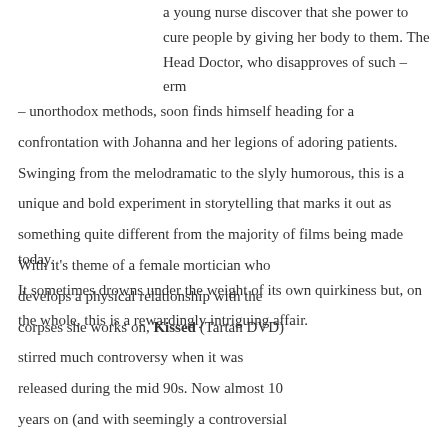a young nurse discover that she power to cure people by giving her body to them. The Head Doctor, who disapproves of such – erm – unorthodox methods, soon finds himself heading for a confrontation with Johanna and her legions of adoring patients. Swinging from the melodramatic to the slyly humorous, this is a unique and bold experiment in storytelling that marks it out as something quite different from the majority of films being made today. It sometimes drowns under the weight of its own quirkiness but, on the whole, this is a rewardingly intriguing affair.
With it's theme of a female mortician who develops a physical relationship with the corpses she works on, Kissed (Tartan DVD) stirred much controversy when it was released during the mid 90s. Now almost 10 years on (and with seemingly a controversial